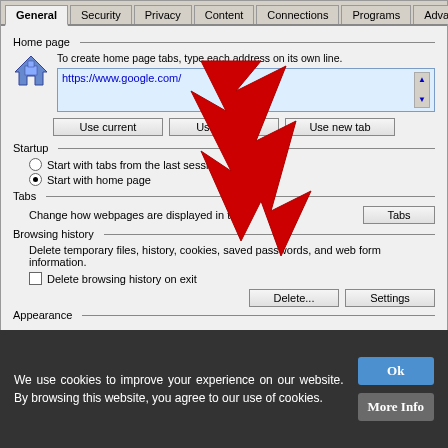[Figure (screenshot): Internet Explorer Internet Options dialog showing General tab with Home page section (https://www.google.com/ in URL box), Startup section with radio buttons, Tabs section, Browsing history section with Delete and Settings buttons, and Appearance section. A large red arrow annotation points to the URL input box.]
We use cookies to improve your experience on our website. By browsing this website, you agree to our use of cookies.